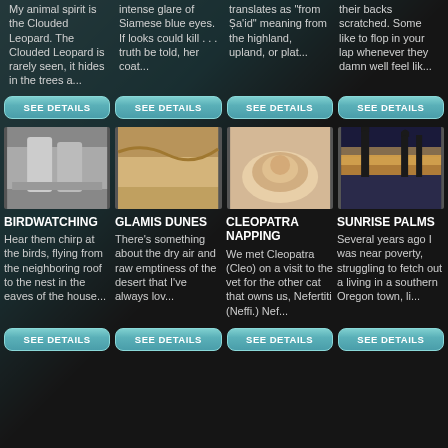My animal spirit is the Clouded Leopard. The Clouded Leopard is rarely seen, it hides in the trees a...
intense glare of Siamese blue eyes. If looks could kill . . . truth be told, her coat...
translates as "from Ṣa'id" meaning from the highland, upland, or plat...
their backs scratched. Some like to flop in your lap whenever they damn well feel lik...
SEE DETAILS
SEE DETAILS
SEE DETAILS
SEE DETAILS
[Figure (photo): Birdwatching - cats or birds on a railing]
[Figure (photo): Glamis Dunes - desert sand dunes landscape]
[Figure (photo): Cleopatra Napping - sleeping cat]
[Figure (photo): Sunrise Palms - palm trees at sunset/sunrise]
BIRDWATCHING
Hear them chirp at the birds, flying from the neighboring roof to the nest in the eaves of the house...
GLAMIS DUNES
There's something about the dry air and raw emptiness of the desert that I've always lov...
CLEOPATRA NAPPING
We met Cleopatra (Cleo) on a visit to the vet for the other cat that owns us, Nefertiti (Neffi.) Nef...
SUNRISE PALMS
Several years ago I was near poverty, struggling to fetch out a living in a southern Oregon town, li...
SEE DETAILS
SEE DETAILS
SEE DETAILS
SEE DETAILS